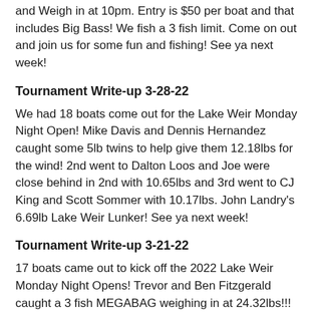and Weigh in at 10pm. Entry is $50 per boat and that includes Big Bass! We fish a 3 fish limit. Come on out and join us for some fun and fishing! See ya next week!
Tournament Write-up 3-28-22
We had 18 boats come out for the Lake Weir Monday Night Open! Mike Davis and Dennis Hernandez caught some 5lb twins to help give them 12.18lbs for the wind! 2nd went to Dalton Loos and Joe were close behind in 2nd with 10.65lbs and 3rd went to CJ King and Scott Sommer with 10.17lbs. John Landry's 6.69lb Lake Weir Lunker! See ya next week!
Tournament Write-up 3-21-22
17 boats came out to kick off the 2022 Lake Weir Monday Night Opens! Trevor and Ben Fitzgerald caught a 3 fish MEGABAG weighing in at 24.32lbs!!! Ben caught two Trophy Catch Giants weighing in at 8.69lbs and 8.09lbs!